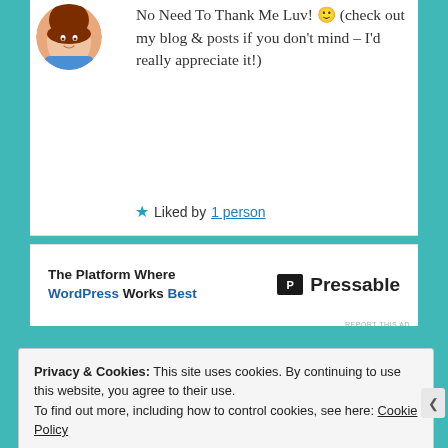[Figure (illustration): Circular avatar image of an animated woman character]
No Need To Thank Me Luv! 🙂 (check out my blog & posts if you don't mind – I'd really appreciate it!)
★ Liked by 1 person
[Figure (infographic): Ad banner: 'The Platform Where WordPress Works Best' with Pressable logo]
REPORT THIS AD
Privacy & Cookies: This site uses cookies. By continuing to use this website, you agree to their use.
To find out more, including how to control cookies, see here: Cookie Policy
Close and accept